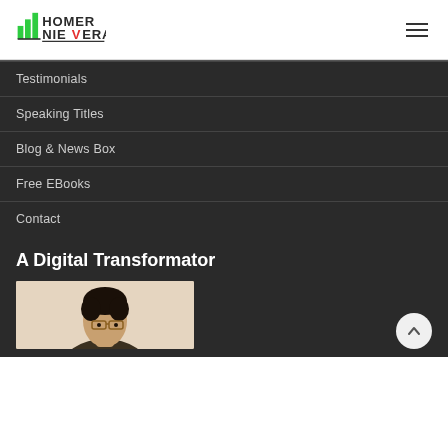[Figure (logo): Homer Nievera logo with green bar chart icon and red checkmark in NIEVERA text]
Testimonials
Speaking Titles
Blog & News Box
Free EBooks
Contact
A Digital Transformator
[Figure (photo): Portrait photo of a man with glasses and dark hair]